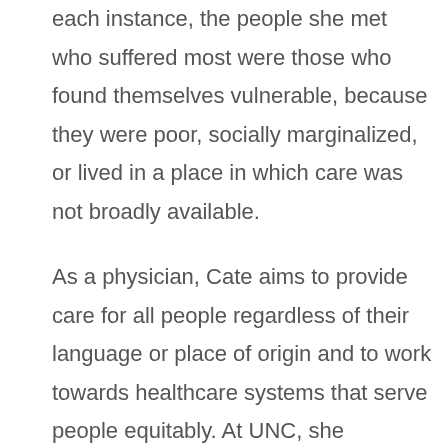each instance, the people she met who suffered most were those who found themselves vulnerable, because they were poor, socially marginalized, or lived in a place in which care was not broadly available.
As a physician, Cate aims to provide care for all people regardless of their language or place of origin and to work towards healthcare systems that serve people equitably. At UNC, she organizes monthly blood pressure and glucose screenings at a Spanish-speaking church in Durham, is a